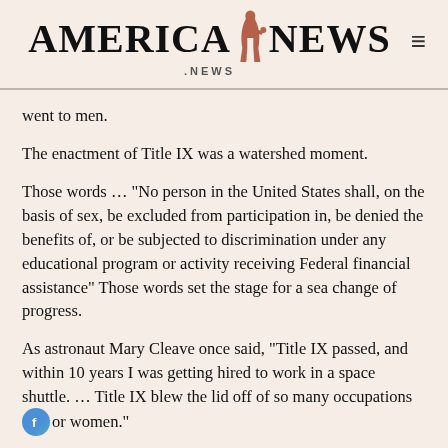AMERICA NEWS .NEWS
went to men.
The enactment of Title IX was a watershed moment.
Those words … "No person in the United States shall, on the basis of sex, be excluded from participation in, be denied the benefits of, or be subjected to discrimination under any educational program or activity receiving Federal financial assistance" Those words set the stage for a sea change of progress.
As astronaut Mary Cleave once said, "Title IX passed, and within 10 years I was getting hired to work in a space shuttle. … Title IX blew the lid off of so many occupations for women."